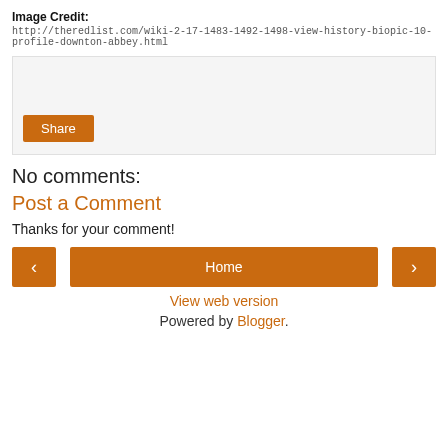Image Credit:
http://theredlist.com/wiki-2-17-1483-1492-1498-view-history-biopic-10-profile-downton-abbey.html
[Figure (other): Social share widget box with a Share button]
No comments:
Post a Comment
Thanks for your comment!
Home
View web version
Powered by Blogger.